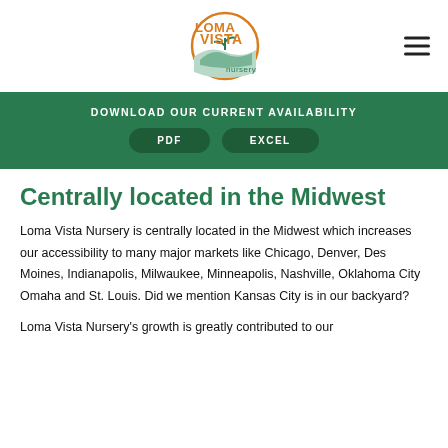[Figure (logo): Loma Vista Nursery logo — orange and teal circular emblem with plant/hill motif, text 'LOMA VISTA nursery']
DOWNLOAD OUR CURRENT AVAILABILITY
PDF   EXCEL
Centrally located in the Midwest
Loma Vista Nursery is centrally located in the Midwest which increases our accessibility to many major markets like Chicago, Denver, Des Moines, Indianapolis, Milwaukee, Minneapolis, Nashville, Oklahoma City Omaha and St. Louis. Did we mention Kansas City is in our backyard?
Loma Vista Nursery's growth is greatly contributed to our